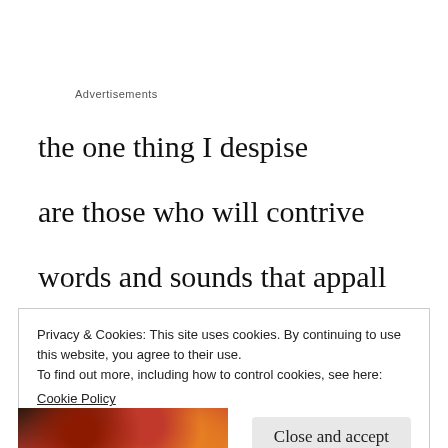Advertisements
the one thing I despise
are those who will contrive
words and sounds that appall
Privacy & Cookies: This site uses cookies. By continuing to use this website, you agree to their use.
To find out more, including how to control cookies, see here:
Cookie Policy
Close and accept
[Figure (photo): Partial image strip at bottom showing warm red and orange tones with decorative motif]